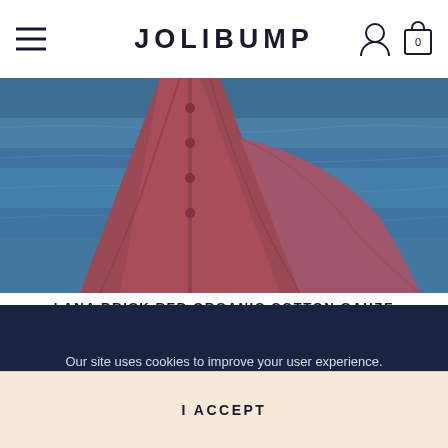JOLIBUMP
[Figure (photo): Close-up of a woman in a brick red organic cotton gauze dress billowing in the wind, with blue ocean water in the background.]
LANA BRICK RED ORGANIC COTTON GAUZE PREGNANCY DRESS
€99.00
[Figure (photo): Woman with dark curly hair standing in front of a green floral patterned background.]
Our site uses cookies to improve your user experience.
More information   Customize cookies
I ACCEPT